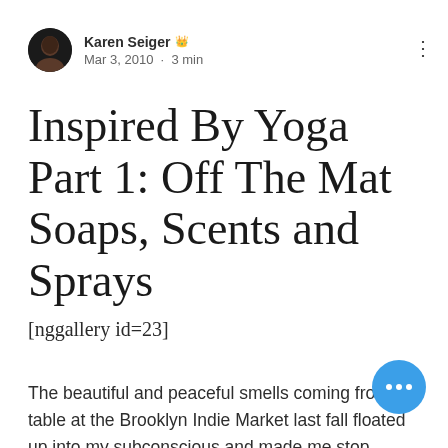Karen Seiger 👑  Mar 3, 2010 · 3 min
Inspired By Yoga Part 1: Off The Mat Soaps, Scents and Sprays
[nggallery id=23]
The beautiful and peaceful smells coming from a table at the Brooklyn Indie Market last fall floated up into my subconscious and made me stop walking.  But it was the incredible enthusiasm and huge smile of the ...